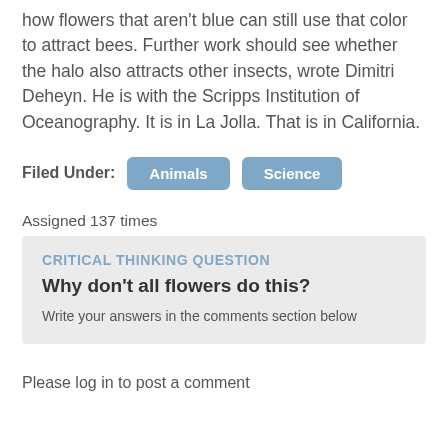how flowers that aren't blue can still use that color to attract bees. Further work should see whether the halo also attracts other insects, wrote Dimitri Deheyn. He is with the Scripps Institution of Oceanography. It is in La Jolla. That is in California.
Filed Under: Animals Science
Assigned 137 times
CRITICAL THINKING QUESTION
Why don't all flowers do this?
Write your answers in the comments section below
Please log in to post a comment